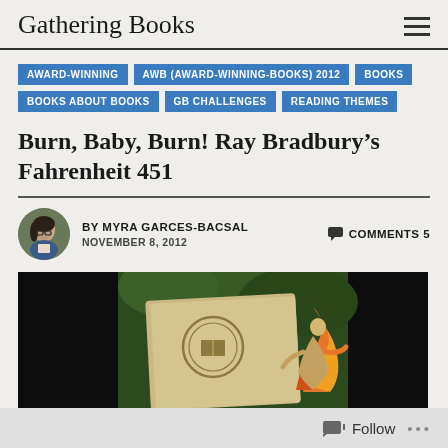Gathering Books
AWARD-WINNING
AWB (AWARD-WINNING-BOOKS) 2012
BOOKS
BOOKS ABOUT BOOKS
GB CHALLENGES
READING THEMES
Burn, Baby, Burn! Ray Bradbury’s Fahrenheit 451
BY MYRA GARCES-BACSAL   COMMENTS 5
NOVEMBER 8, 2012
[Figure (photo): Book cover of Fahrenheit 451 showing an illustrated figure with flames, set against dark background with a circular stamp/seal visible]
Follow  •••